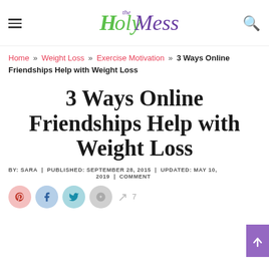The Holy Mess — site header with hamburger menu and search icon
Home » Weight Loss » Exercise Motivation » 3 Ways Online Friendships Help with Weight Loss
3 Ways Online Friendships Help with Weight Loss
BY: SARA | PUBLISHED: SEPTEMBER 28, 2015 | UPDATED: MAY 10, 2019 | COMMENT
[Figure (other): Social share icons row: Pinterest (pink), Facebook (blue), Twitter (teal), email/save (gray), share arrow, count 7]